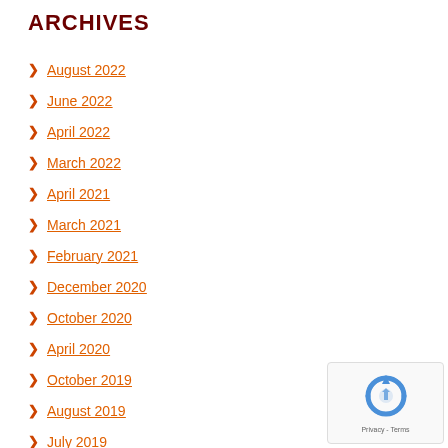ARCHIVES
August 2022
June 2022
April 2022
March 2022
April 2021
March 2021
February 2021
December 2020
October 2020
April 2020
October 2019
August 2019
July 2019
June 2019
May 2019
[Figure (logo): reCAPTCHA privacy badge with circular arrow logo and 'Privacy - Terms' text]